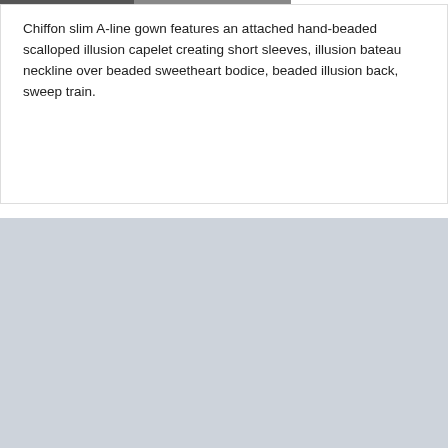Chiffon slim A-line gown features an attached hand-beaded scalloped illusion capelet creating short sleeves, illusion bateau neckline over beaded sweetheart bodice, beaded illusion back, sweep train.
[Figure (logo): Castle Couture logo with decorative crown above cursive script text]
355 US Highway 9
Manalapan, NJ 07726
Appointments are required for our bridal, prom & evening wear